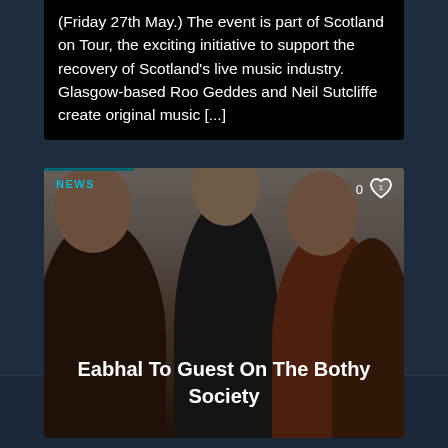(Friday 27th May.) The event is part of Scotland on Tour, the exciting initiative to support the recovery of Scotland's live music industry. Glasgow-based Roo Geddes and Neil Sutcliffe create original music [...]
[Figure (photo): News card showing a group of young people (Eabhal band members) posing for a photo. Blue bar at top, NEWS label, heart icon with 0, and title overlay reading 'Eabhal To Guest On The Bothy Society'.]
Eabhal To Guest On The Bothy Society